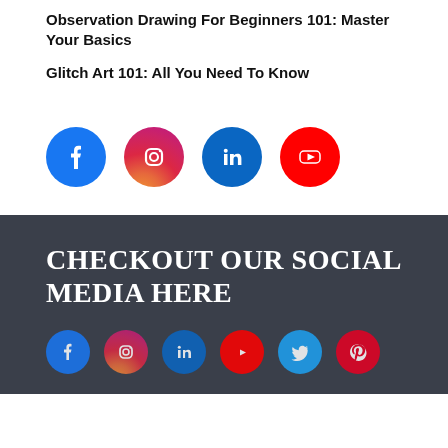Observation Drawing For Beginners 101: Master Your Basics
Glitch Art 101: All You Need To Know
[Figure (infographic): Row of four social media icon circles: Facebook (blue), Instagram (pink/magenta gradient), LinkedIn (blue), YouTube (red)]
CHECKOUT OUR SOCIAL MEDIA HERE
[Figure (infographic): Row of six small social media icon circles in footer: Facebook, Instagram, LinkedIn, YouTube, Twitter, Pinterest]